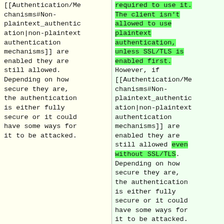[[Authentication/Mechanisms#Non-plaintext_authentication|non-plaintext authentication mechanisms]] are enabled they are still allowed. Depending on how secure they are, the authentication is either fully secure or it could have some ways for it to be attacked.
required to use it. The client isn't allowed to use plaintext authentication, unless SSL/TLS is enabled first. However, if [[Authentication/Mechanisms#Non-plaintext_authentication|non-plaintext authentication mechanisms]] are enabled they are still allowed even without SSL/TLS. Depending on how secure they are, the authentication is either fully secure or it could have some ways for it to be attacked.
Line 38:
Line 38: